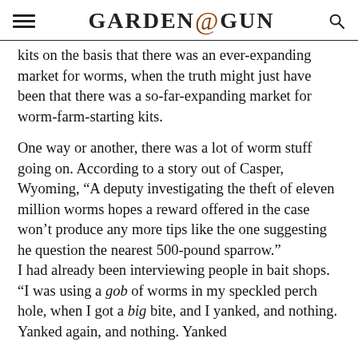GARDEN & GUN
kits on the basis that there was an ever-expanding market for worms, when the truth might just have been that there was a so-far-expanding market for worm-farm-starting kits.
One way or another, there was a lot of worm stuff going on. According to a story out of Casper, Wyoming, “A deputy investigating the theft of eleven million worms hopes a reward offered in the case won’t produce any more tips like the one suggesting he question the nearest 500-pound sparrow.”
I had already been interviewing people in bait shops. “I was using a gob of worms in my speckled perch hole, when I got a big bite, and I yanked, and nothing. Yanked again, and nothing. Yanked